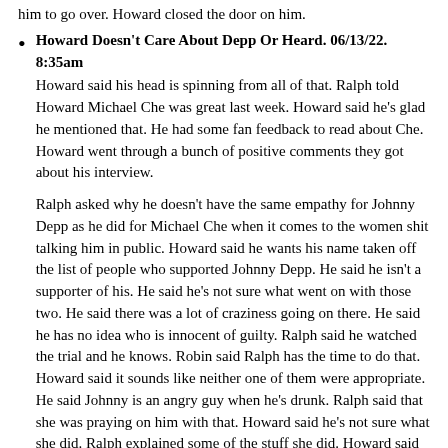him to go over. Howard closed the door on him.
Howard Doesn't Care About Depp Or Heard. 06/13/22. 8:35am
Howard said his head is spinning from all of that. Ralph told Howard Michael Che was great last week. Howard said he's glad he mentioned that. He had some fan feedback to read about Che. Howard went through a bunch of positive comments they got about his interview.

Ralph asked why he doesn't have the same empathy for Johnny Depp as he did for Michael Che when it comes to the women shit talking him in public. Howard said he wants his name taken off the list of people who supported Johnny Depp. He said he isn't a supporter of his. He said he's not sure what went on with those two. He said there was a lot of craziness going on there. He said he has no idea who is innocent of guilty. Ralph said he watched the trial and he knows. Robin said Ralph has the time to do that. Howard said it sounds like neither one of them were appropriate. He said Johnny is an angry guy when he's drunk. Ralph said that she was praying on him with that. Howard said he's not sure what she did. Ralph explained some of the stuff she did. Howard said she should have gotten the fuck out of the house. Ralph said she made a bunch of false claims and she used the #MeToo movement to go after him. Howard said he